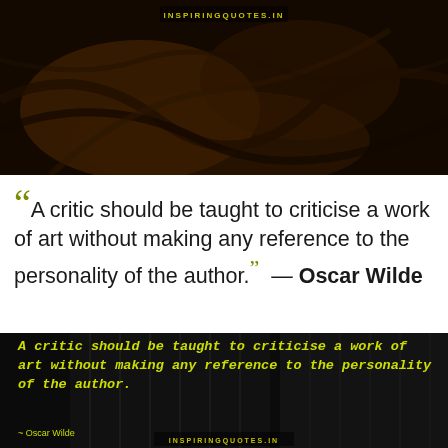[Figure (photo): Dark aerial/overhead photo with brownish-orange tones, showing what appears to be winding roads or terrain from above, with a watermark text at the top center]
A critic should be taught to criticise a work of art without making any reference to the personality of the author. ”  — Oscar Wilde
[Figure (photo): Dark photo of tall building/skyscraper facade at angle, grayscale-dark background. Overlaid with yellow-green italic bold text of Oscar Wilde quote and attribution.]